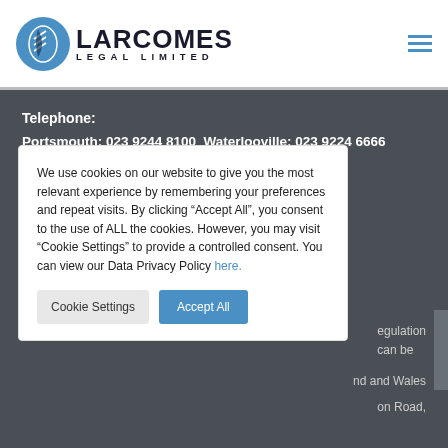Larcomes Legal Limited
Telephone:
Portsmouth: 023 9244 8100 Waterlooville: 023 9224 6666
We use cookies on our website to give you the most relevant experience by remembering your preferences and repeat visits. By clicking “Accept All”, you consent to the use of ALL the cookies. However, you may visit "Cookie Settings" to provide a controlled consent. You can view our Data Privacy Policy here.
...egulation ...can be
...nd and Wales ...on Road,